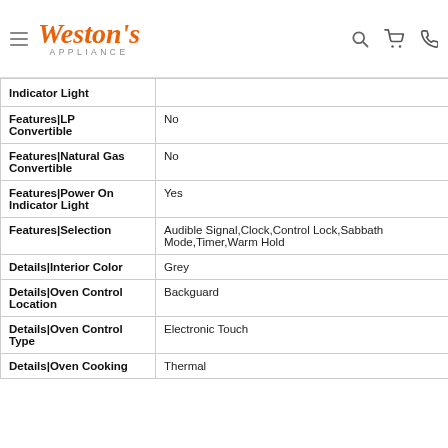Weston's Appliance — navigation header with logo, search, cart, phone icons
| Feature | Value |
| --- | --- |
| Indicator Light |  |
| Features|LP Convertible | No |
| Features|Natural Gas Convertible | No |
| Features|Power On Indicator Light | Yes |
| Features|Selection | Audible Signal,Clock,Control Lock,Sabbath Mode,Timer,Warm Hold |
| Details|Interior Color | Grey |
| Details|Oven Control Location | Backguard |
| Details|Oven Control Type | Electronic Touch |
| Details|Oven Cooking | Thermal |